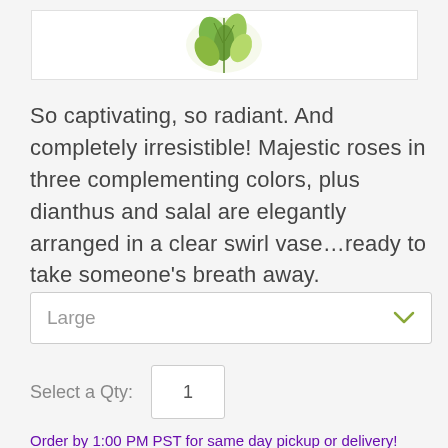[Figure (photo): Product image showing a floral arrangement with green leaves and flowers in a clear swirl vase, partially visible at top of page]
So captivating, so radiant. And completely irresistible! Majestic roses in three complementing colors, plus dianthus and salal are elegantly arranged in a clear swirl vase...ready to take someone's breath away.
Large
Select a Qty: 1
Order by 1:00 PM PST for same day pickup or delivery!